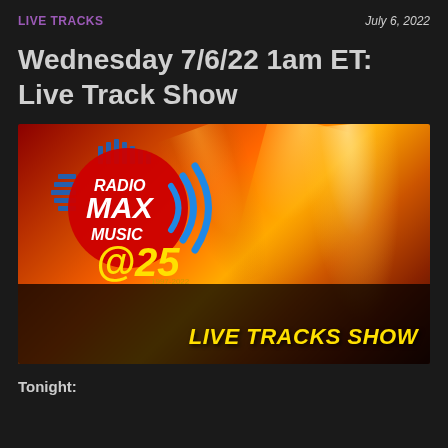LIVE TRACKS    July 6, 2022
Wednesday 7/6/22 1am ET: Live Track Show
[Figure (photo): Concert photo with Radio Max Music @25 logo overlay and 'LIVE TRACKS SHOW' text. Red/orange stage lighting with crowd silhouettes.]
Tonight: